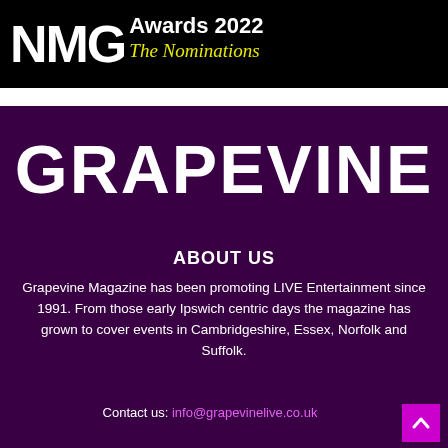NMG Awards 2022 The Nominations
GRAPEVINE
ABOUT US
Grapevine Magazine has been promoting LIVE Entertainment since 1991. From those early Ipswich centric days the magazine has grown to cover events in Cambridgeshire, Essex, Norfolk and Suffolk.
Contact us: info@grapevinelive.co.uk